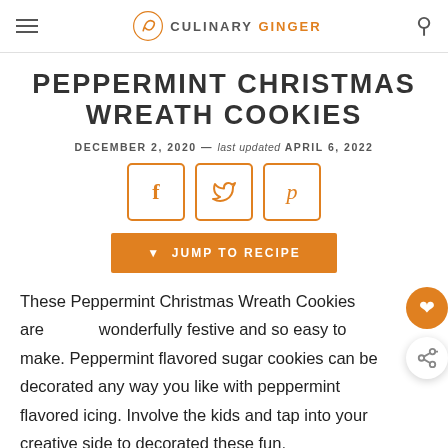CULINARY GINGER
PEPPERMINT CHRISTMAS WREATH COOKIES
DECEMBER 2, 2020 — last updated APRIL 6, 2022
[Figure (infographic): Three orange-bordered social sharing buttons: Facebook (f), Twitter (bird), Pinterest (p)]
JUMP TO RECIPE
These Peppermint Christmas Wreath Cookies are wonderfully festive and so easy to make. Peppermint flavored sugar cookies can be decorated any way you like with peppermint flavored icing. Involve the kids and tap into your creative side to decorated these fun, slightly crispy holiday cookies.